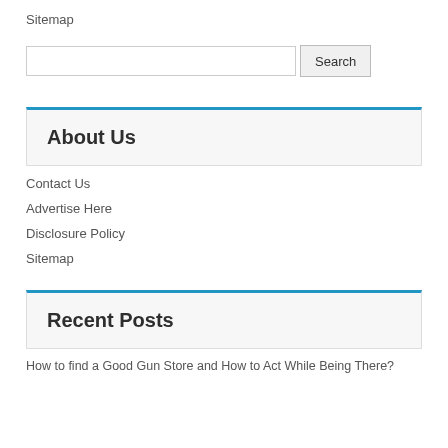Sitemap
[Figure (other): Search bar with text input field and Search button]
About Us
Contact Us
Advertise Here
Disclosure Policy
Sitemap
Recent Posts
How to find a Good Gun Store and How to Act While Being There?